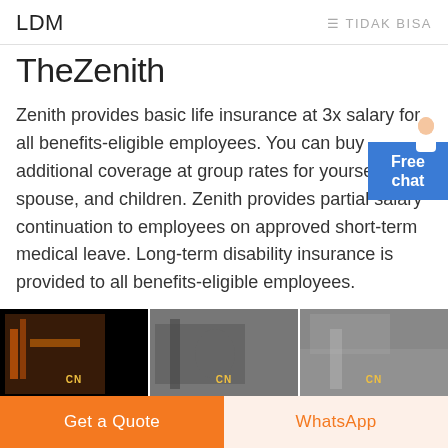LDM  ≡ TIDAK BISA
TheZenith
Zenith provides basic life insurance at 3x salary for all benefits-eligible employees. You can buy additional coverage at group rates for yourself, spouse, and children. Zenith provides partial salary continuation to employees on approved short-term medical leave. Long-term disability insurance is provided to all benefits-eligible employees.
[Figure (photo): Three industrial machinery photos side by side with CN watermarks, showing heavy equipment and factory interiors.]
Get a Quote  WhatsApp